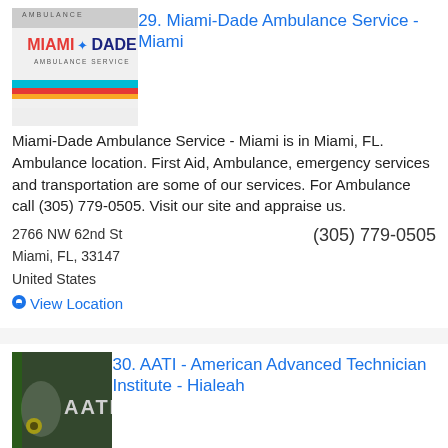[Figure (photo): Miami-Dade Ambulance Service logo and ambulance vehicle photo]
29. Miami-Dade Ambulance Service - Miami
Miami-Dade Ambulance Service - Miami is in Miami, FL. Ambulance location. First Aid, Ambulance, emergency services and transportation are some of our services. For Ambulance call (305) 779-0505. Visit our site and appraise us.
2766 NW 62nd St
Miami, FL, 33147
United States
(305) 779-0505
View Location
[Figure (photo): AATI - American Advanced Technician Institute logo with people in background]
30. AATI - American Advanced Technician Institute - Hialeah
AATI - American Advanced Technician Institute - Hialeah is in Hialeah, FL. School of higher